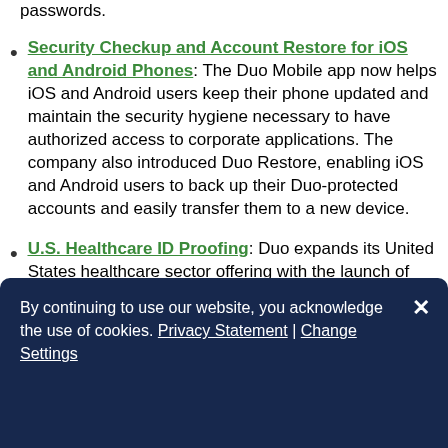passwords.
Security Checkup and Account Restore for iOS and Android Phones: The Duo Mobile app now helps iOS and Android users keep their phone updated and maintain the security hygiene necessary to have authorized access to corporate applications. The company also introduced Duo Restore, enabling iOS and Android users to back up their Duo-protected accounts and easily transfer them to a new device.
U.S. Healthcare ID Proofing: Duo expands its United States healthcare sector offering with the launch of online identity proofing for physicians using electronic prescriptions for controlled substances (EPCS). This helps hospitals meet EPCS compliance requirements
By continuing to use our website, you acknowledge the use of cookies. Privacy Statement | Change Settings